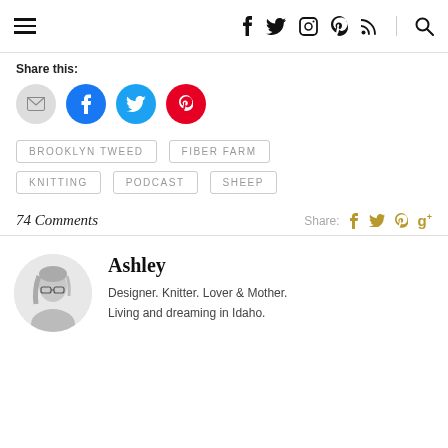Navigation bar with hamburger menu, social icons (f, twitter, instagram, pinterest, rss), and search
Share this:
[Figure (infographic): Share buttons: email (gray circle), Facebook (blue circle), Twitter (cyan circle), Pinterest (red circle)]
BROOKLYN TWEED
FIBER FARM
KNITTING
PODCAST
SHEEP
74 Comments
Share: f twitter pinterest g+
Ashley
Designer. Knitter. Lover & Mother. Living and dreaming in Idaho.